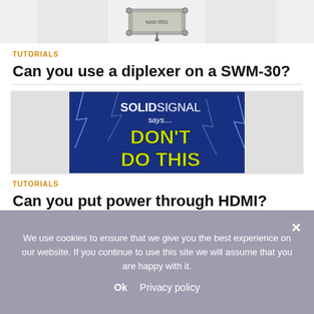[Figure (photo): Partial view of a coaxial splitter/diplexer device centered in a light gray image strip at the top of the page]
TUTORIALS
Can you use a diplexer on a SWM-30?
[Figure (photo): Solid Signal 'DON'T DO THIS' banner image with yellow-green text on a blue electric-lightning background]
TUTORIALS
Can you put power through HDMI?
We use cookies to ensure that we give you the best experience on our website. If you continue to use this site we will assume that you are happy with it.
Ok   Privacy policy